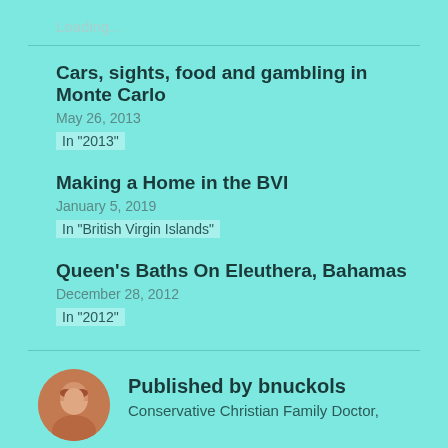Loading...
Cars, sights, food and gambling in Monte Carlo
May 26, 2013
In "2013"
Making a Home in the BVI
January 5, 2019
In "British Virgin Islands"
Queen's Baths On Eleuthera, Bahamas
December 28, 2012
In "2012"
Published by bnuckols
Conservative Christian Family Doctor,